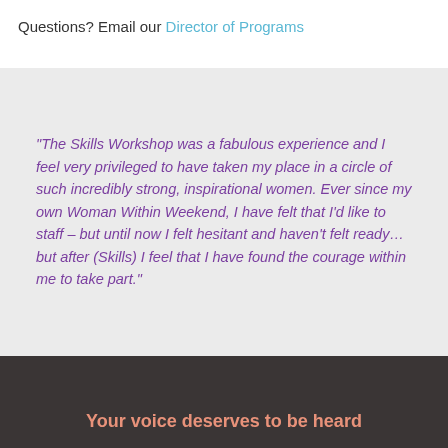Questions? Email our Director of Programs
"The Skills Workshop was a fabulous experience and I feel very privileged to have taken my place in a circle of such incredibly strong, inspirational women. Ever since my own Woman Within Weekend, I have felt that I'd like to staff – but until now I felt hesitant and haven't felt ready... but after (Skills) I feel that I have found the courage within me to take part."
Your voice deserves to be heard